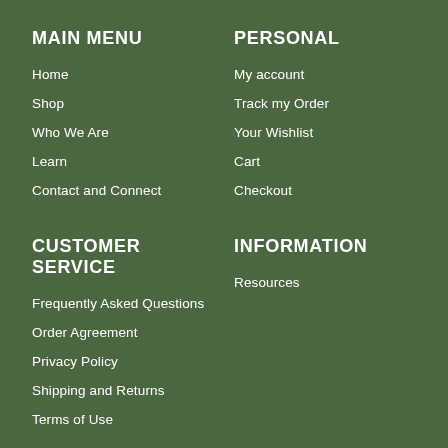MAIN MENU
Home
Shop
Who We Are
Learn
Contact and Connect
PERSONAL
My account
Track my Order
Your Wishlist
Cart
Checkout
CUSTOMER SERVICE
Frequently Asked Questions
Order Agreement
Privacy Policy
Shipping and Returns
Terms of Use
INFORMATION
Resources